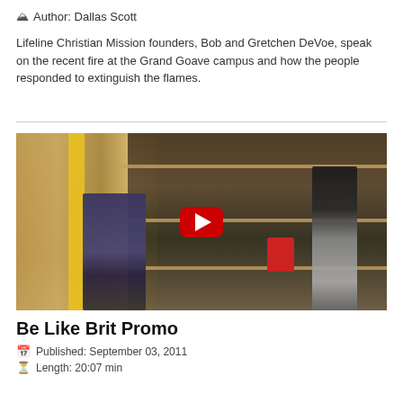Author: Dallas Scott
Lifeline Christian Mission founders, Bob and Gretchen DeVoe, speak on the recent fire at the Grand Goave campus and how the people responded to extinguish the flames.
[Figure (photo): Video thumbnail showing a child and an adult in a storage/tool shed with lumber, tools, and shelves. A red YouTube-style play button is centered on the image.]
Be Like Brit Promo
Published: September 03, 2011
Length: 20:07 min